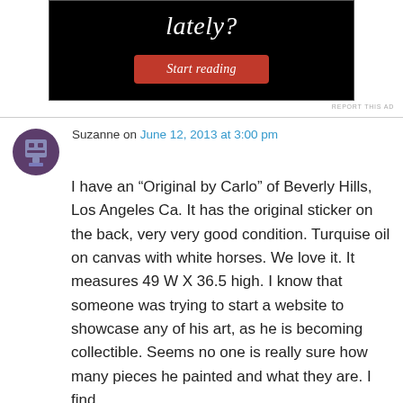[Figure (screenshot): Advertisement banner with black background, text 'lately?' in white italic font, and a red 'Start reading' button]
REPORT THIS AD
Suzanne on June 12, 2013 at 3:00 pm
I have an “Original by Carlo” of Beverly Hills, Los Angeles Ca. It has the original sticker on the back, very very good condition. Turquise oil on canvas with white horses. We love it. It measures 49 W X 36.5 high. I know that someone was trying to start a website to showcase any of his art, as he is becoming collectible. Seems no one is really sure how many pieces he painted and what they are. I find